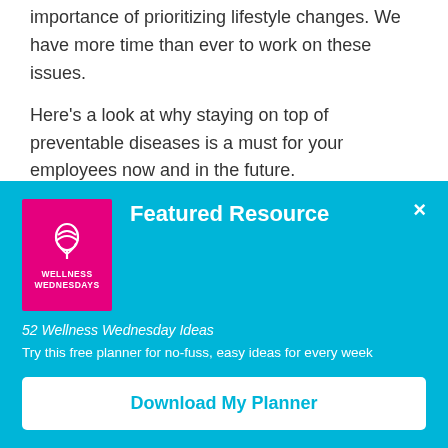importance of prioritizing lifestyle changes. We have more time than ever to work on these issues.
Here's a look at why staying on top of preventable diseases is a must for your employees now and in the future.
Featured Resource
[Figure (illustration): Pink square card with a white leaf/plant icon and text 'WELLNESS WEDNESDAYS']
52 Wellness Wednesday Ideas
Try this free planner for no-fuss, easy ideas for every week
Download My Planner